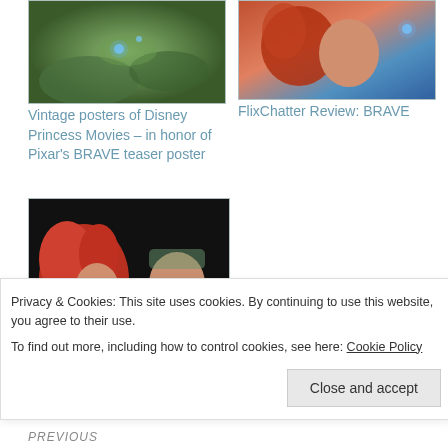[Figure (photo): Screenshot of a Disney forest scene with blue magical orbs]
Vintage posters of Disney Princess Movies – in honor of Pixar's BRAVE teaser poster
[Figure (photo): Screenshot of FlixChatter Review: BRAVE header image with a character with red curly hair]
FlixChatter Review: BRAVE
[Figure (photo): Scene from Pixar's BRAVE showing Merida with curly red hair facing another character]
THIS JUST IN! Pixar's
Privacy & Cookies: This site uses cookies. By continuing to use this website, you agree to their use.
To find out more, including how to control cookies, see here: Cookie Policy
Close and accept
PREVIOUS